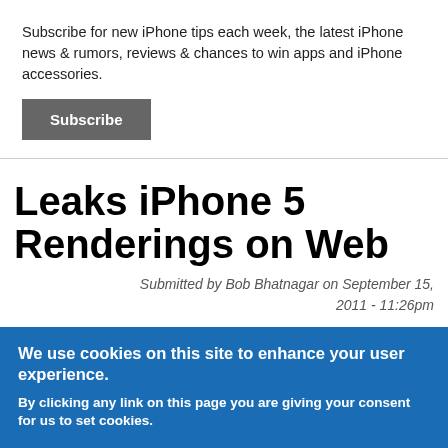Subscribe for new iPhone tips each week, the latest iPhone news & rumors, reviews & chances to win apps and iPhone accessories.
Subscribe
Leaks iPhone 5 Renderings on Web
Submitted by Bob Bhatnagar on September 15, 2011 - 11:26pm
We use cookies on this site to enhance your user experience.
By clicking any link on this page you are giving your consent for us to set cookies.